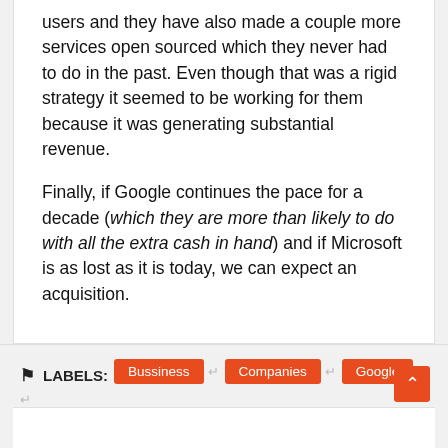users and they have also made a couple more services open sourced which they never had to do in the past. Even though that was a rigid strategy it seemed to be working for them because it was generating substantial revenue.
Finally, if Google continues the pace for a decade (which they are more than likely to do with all the extra cash in hand) and if Microsoft is as lost as it is today, we can expect an acquisition.
LABELS: Bussiness, Companies, Google, Microsoft, Quora, Tech
SHARE: